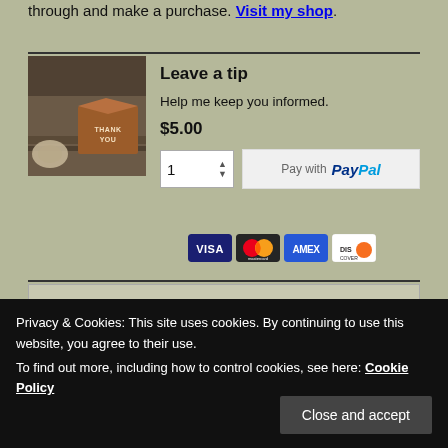through and make a purchase. Visit my shop.
Leave a tip
Help me keep you informed.
$5.00
[Figure (photo): A wooden 'Thank You' box with rope nearby on a shelf]
1 (quantity spinner) Pay with PayPal — VISA, Mastercard, AMEX, Discover
Enter email...
Privacy & Cookies: This site uses cookies. By continuing to use this website, you agree to their use. To find out more, including how to control cookies, see here: Cookie Policy
Close and accept